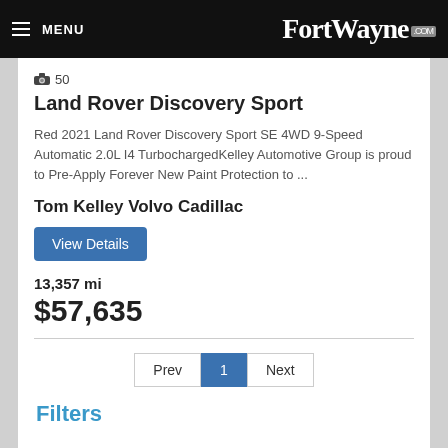MENU | FortWayne.com
📷 50
Land Rover Discovery Sport
Red 2021 Land Rover Discovery Sport SE 4WD 9-Speed Automatic 2.0L I4 TurbochargedKelley Automotive Group is proud to Pre-Apply Forever New Paint Protection to ...
Tom Kelley Volvo Cadillac
View Details
13,357 mi
$57,635
Prev 1 Next
Filters